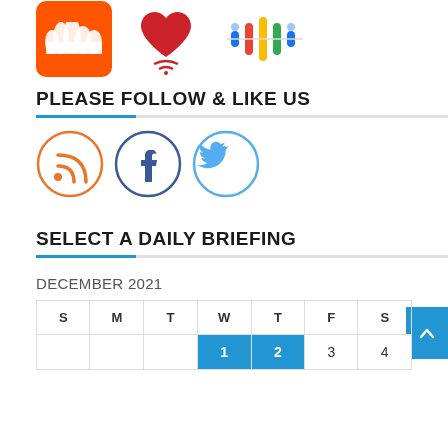[Figure (logo): SoundCloud orange square logo, iHeart Radio logo, Google Podcasts colorful dots logo]
PLEASE FOLLOW & LIKE US
[Figure (logo): RSS feed circle icon (orange), Facebook circle icon (dark blue/grey), Twitter bird circle icon (light blue)]
SELECT A DAILY BRIEFING
DECEMBER 2021
| S | M | T | W | T | F | S |
| --- | --- | --- | --- | --- | --- | --- |
|  |  |  | 1 | 2 | 3 | 4 |